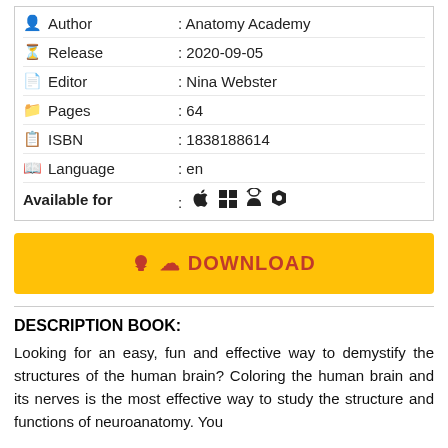| Field | Value |
| --- | --- |
| Author | : Anatomy Academy |
| Release | : 2020-09-05 |
| Editor | : Nina Webster |
| Pages | : 64 |
| ISBN | : 1838188614 |
| Language | : en |
| Available for | : (icons) |
[Figure (other): Yellow DOWNLOAD button with cloud/download icon]
DESCRIPTION BOOK:
Looking for an easy, fun and effective way to demystify the structures of the human brain? Coloring the human brain and its nerves is the most effective way to study the structure and functions of neuroanatomy. You